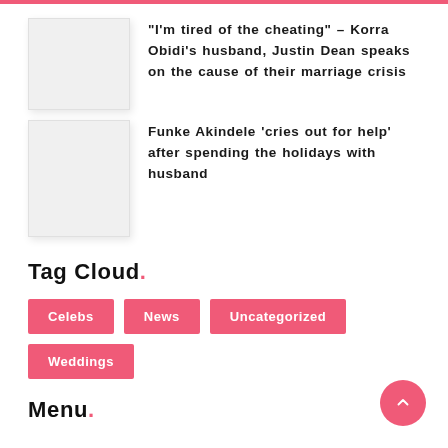"I'm tired of the cheating" – Korra Obidi's husband, Justin Dean speaks on the cause of their marriage crisis
Funke Akindele 'cries out for help' after spending the holidays with husband
Tag Cloud.
Celebs
News
Uncategorized
Weddings
Menu.
Celebs
News